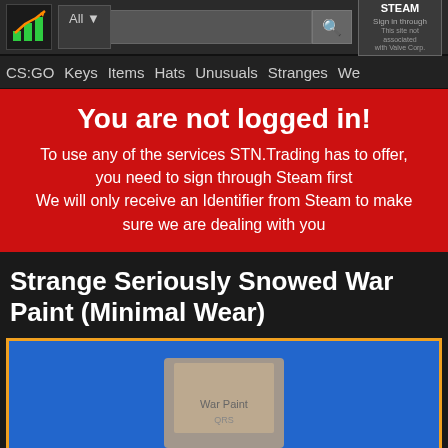[Figure (screenshot): Website navigation top bar with logo, search bar with 'All' dropdown, search icon, and Steam sign-in button]
CS:GO  Keys  Items  Hats  Unusuals  Stranges  We
You are not logged in!

To use any of the services STN.Trading has to offer, you need to sign through Steam first
We will only receive an Identifier from Steam to make sure we are dealing with you
Strange Seriously Snowed War Paint (Minimal Wear)
[Figure (photo): Blue background product image showing a war paint item (Seriously Snowed War Paint)]